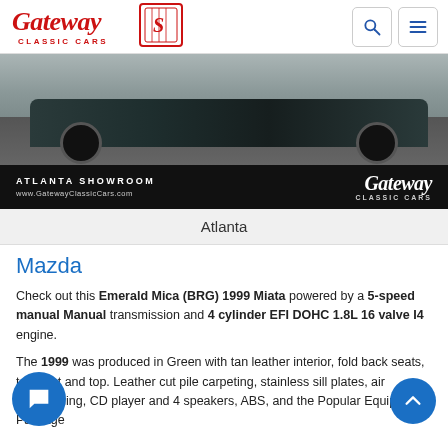Gateway Classic Cars — navigation header with logo, search and menu buttons
[Figure (photo): Bottom portion of a dark green classic car (Mazda Miata) with wheels visible, on asphalt. Black showroom bar at bottom reads: ATLANTA SHOWROOM / www.GatewayClassicCars.com with Gateway Classic Cars script logo on right.]
Atlanta
Mazda
Check out this Emerald Mica (BRG) 1999 Miata powered by a 5-speed manual Manual transmission and 4 cylinder EFI DOHC 1.8L 16 valve I4 engine.
The 1999 was produced in Green with tan leather interior, fold back seats, tan boot and top. Leather cut pile carpeting, stainless sill plates, air conditioning, CD player and 4 speakers, ABS, and the Popular Equipment Package